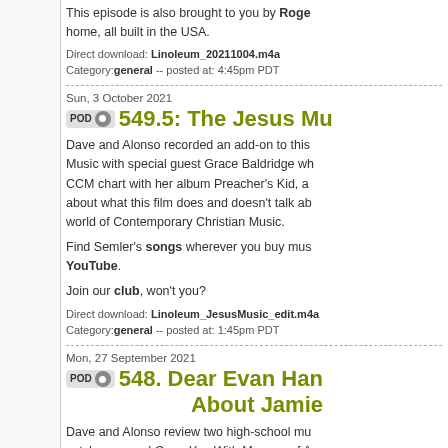This episode is also brought to you by Roge... home, all built in the USA.
Direct download: Linoleum_20211004.m4a
Category:general -- posted at: 4:45pm PDT
Sun, 3 October 2021
549.5: The Jesus Mu...
Dave and Alonso recorded an add-on to this... Music with special guest Grace Baldridge wh... CCM chart with her album Preacher's Kid, a... about what this film does and doesn't talk ab... world of Contemporary Christian Music.
Find Semler's songs wherever you buy mus... YouTube.
Join our club, won't you?
Direct download: Linoleum_JesusMusic_edit.m4a
Category:general -- posted at: 1:45pm PDT
Mon, 27 September 2021
548. Dear Evan Han... About Jamie
Dave and Alonso review two high-school mu... catches up on I Carry You With Me, one of A... advance warning). Subscribe (and review us... and Facebook, I believe in coyotes and time...
Join our club, won't you?